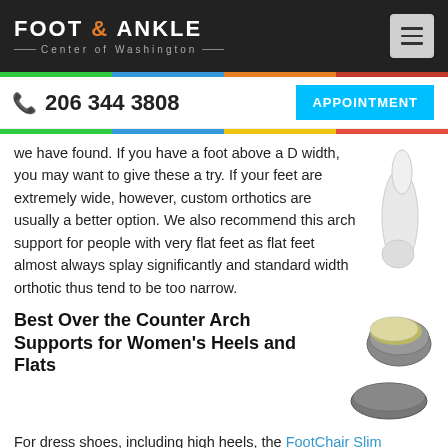FOOT & ANKLE Center of Washington
206 344 3808
APPOINTMENT
we have found. If you have a foot above a D width, you may want to give these a try. If your feet are extremely wide, however, custom orthotics are usually a better option. We also recommend this arch support for people with very flat feet as flat feet almost always splay significantly and standard width orthotic thus tend to be too narrow.
Best Over the Counter Arch Supports for Women's Heels and Flats
For dress shoes, including high heels, the FootChair Slim